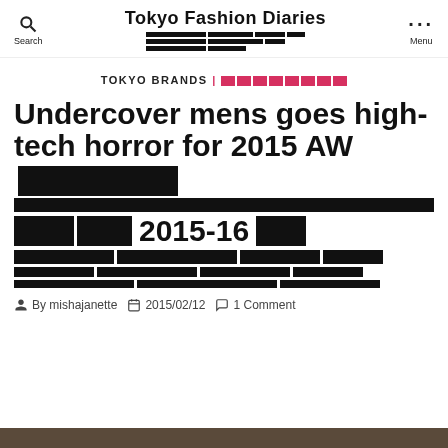Tokyo Fashion Diaries — Search | Menu
TOKYO BRANDS | [redacted]
Undercover mens goes high-tech horror for 2015 AW [redacted] 2015-16
By mishajanette  2015/02/12  1 Comment